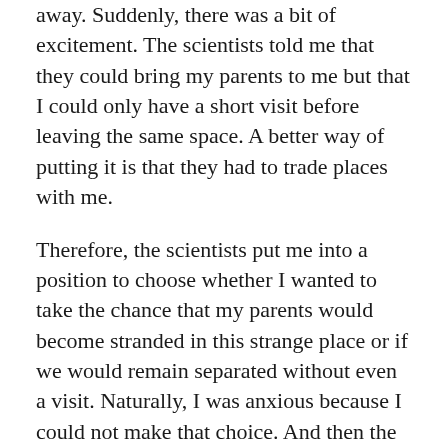away. Suddenly, there was a bit of excitement. The scientists told me that they could bring my parents to me but that I could only have a short visit before leaving the same space. A better way of putting it is that they had to trade places with me.
Therefore, the scientists put me into a position to choose whether I wanted to take the chance that my parents would become stranded in this strange place or if we would remain separated without even a visit. Naturally, I was anxious because I could not make that choice. And then the scientists managed to open a means of communicating. I suppose I don't have to tell you what my parents said. They wanted to see me, even if it meant taking my place. I felt it selfish but agreed to see them since they were willing. There was a portal off to the side of where I was sitting. Then, a fog began filling the space. My eyes made out shapes in the mist, which were my parents. They came closer to me and